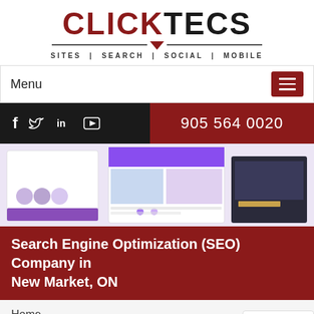[Figure (logo): ClickTecs logo with CLICK in dark red and TECS in black, with a red downward-pointing arrow between two horizontal lines and tagline SITES | SEARCH | SOCIAL | MOBILE]
Menu
[Figure (infographic): Social media bar with Facebook, Twitter, LinkedIn, YouTube icons on black background, and phone number 905 564 0020 on dark red background]
[Figure (screenshot): Hero image showing website design mockups on a light purple background]
Search Engine Optimization (SEO) Company in New Market, ON
Home
>> Search Engine Optimization (SEO) Company in New Market, ON